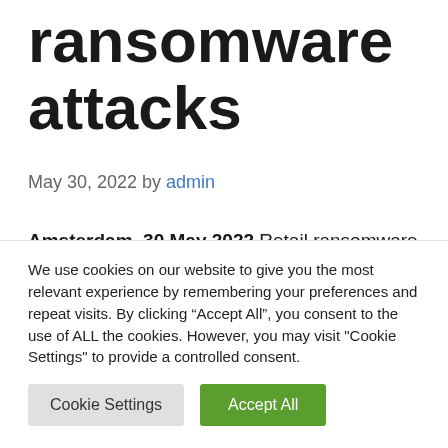ransomware attacks
May 30, 2022 by admin
Amsterdam, 30 May 2022 Retail ransomware is probably the most visible to the general public when it comes to cyber
We use cookies on our website to give you the most relevant experience by remembering your preferences and repeat visits. By clicking “Accept All”, you consent to the use of ALL the cookies. However, you may visit "Cookie Settings" to provide a controlled consent.